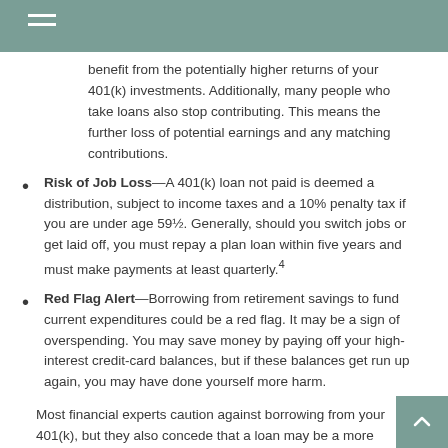benefit from the potentially higher returns of your 401(k) investments. Additionally, many people who take loans also stop contributing. This means the further loss of potential earnings and any matching contributions.
Risk of Job Loss—A 401(k) loan not paid is deemed a distribution, subject to income taxes and a 10% penalty tax if you are under age 59½. Generally, should you switch jobs or get laid off, you must repay a plan loan within five years and must make payments at least quarterly.4
Red Flag Alert—Borrowing from retirement savings to fund current expenditures could be a red flag. It may be a sign of overspending. You may save money by paying off your high-interest credit-card balances, but if these balances get run up again, you may have done yourself more harm.
Most financial experts caution against borrowing from your 401(k), but they also concede that a loan may be a more appropriate alternative to an outright distribution if the